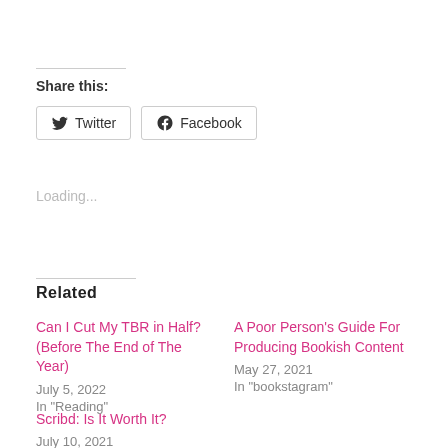Share this:
Twitter  Facebook
Loading...
Related
Can I Cut My TBR in Half? (Before The End of The Year)
July 5, 2022
In "Reading"
A Poor Person's Guide For Producing Bookish Content
May 27, 2021
In "bookstagram"
Scribd: Is It Worth It?
July 10, 2021